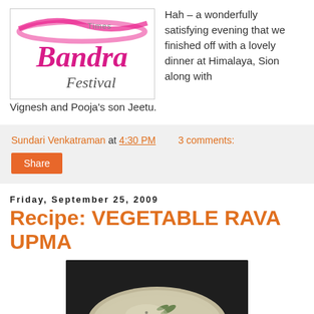[Figure (logo): Times Bandra Festival logo with pink cursive text on white background]
Hah – a wonderfully satisfying evening that we finished off with a lovely dinner at Himalaya, Sion along with Vignesh and Pooja's son Jeetu.
Sundari Venkatraman at 4:30 PM   3 comments:
Share
Friday, September 25, 2009
Recipe: VEGETABLE RAVA UPMA
[Figure (photo): Photo of Vegetable Rava Upma dish served on a dark plate, showing white semolina with mixed vegetables including carrots and peas]